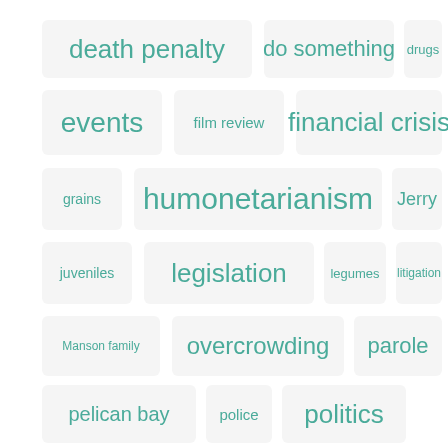[Figure (infographic): Tag cloud showing various topic tags in teal/green color with different font sizes on rounded rectangle backgrounds. Tags include: death penalty, do something, drugs, events, film review, financial crisis, grains, humonetarianism, Jerry, juveniles, legislation, legumes, litigation, Manson family, overcrowding, parole, pelican bay, police, politics, prison guards, prison health system]